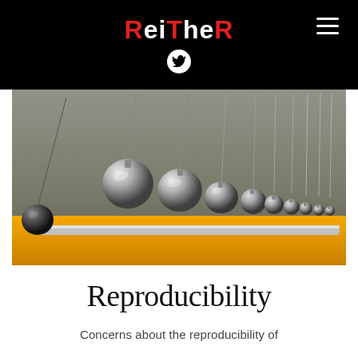ReiTheR
[Figure (photo): Newton's cradle with metallic silver balls suspended by strings over a yellow base, close-up photography]
Reproducibility
Concerns about the reproducibility of